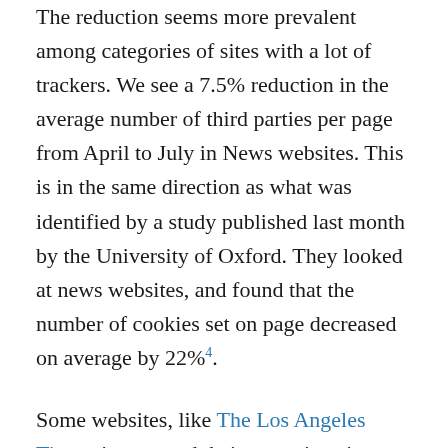The reduction seems more prevalent among categories of sites with a lot of trackers. We see a 7.5% reduction in the average number of third parties per page from April to July in News websites. This is in the same direction as what was identified by a study published last month by the University of Oxford. They looked at news websites, and found that the number of cookies set on page decreased on average by 22%⁴.
Some websites, like The Los Angeles Times, interrupted their operations in Europe, others decided to offer text only versions of their websites if the user does not consent to sharing data with third parties, like npr.org. What we are certainly observing is a rise in the usage of consent management tools, for which we